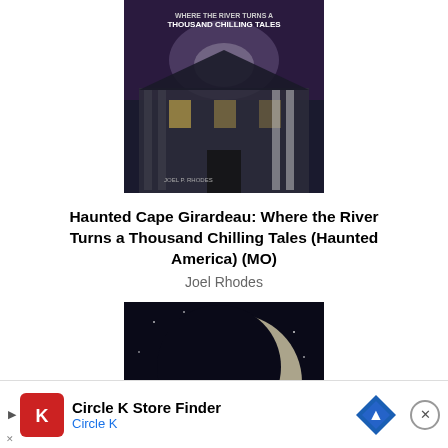[Figure (photo): Book cover of 'Haunted Cape Girardeau: Where the River Turns a Thousand Chilling Tales' showing a dark haunted house with misty atmosphere]
Haunted Cape Girardeau: Where the River Turns a Thousand Chilling Tales (Haunted America) (MO)
Joel Rhodes
[Figure (photo): Book cover of 'The Haunted Boonslick: Ghosts, Ghouls & Monsters of Missouri's Heartland' showing a dark building under a large moon]
The Haunted Boonslick: Ghosts,
Ghou
[Figure (infographic): Advertisement banner for Circle K Store Finder app showing Circle K logo, navigation arrow icon, and close button]